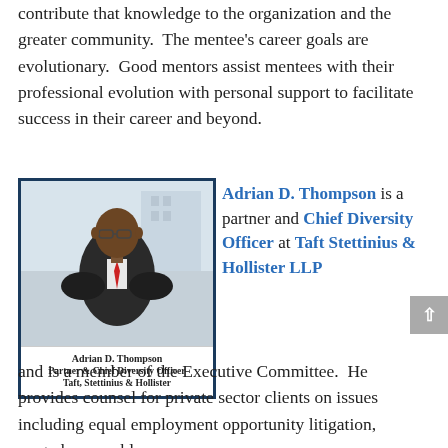contribute that knowledge to the organization and the greater community. The mentee's career goals are evolutionary. Good mentors assist mentees with their professional evolution with personal support to facilitate success in their career and beyond.
[Figure (photo): Professional headshot of Adrian D. Thompson wearing a dark suit and red tie, with caption 'Adrian D. Thompson / Partner & Chief Diversity Officer / Taft, Stettinius & Hollister']
Adrian D. Thompson is a partner and Chief Diversity Officer at Taft Stettinius & Hollister LLP and is a member of the Executive Committee. He provides counsel for private sector clients on issues including equal employment opportunity litigation, wage-hour problems,